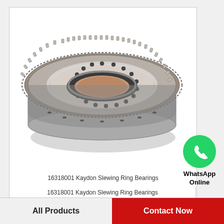[Figure (photo): 16318001 Kaydon Slewing Ring Bearing - a large annular gear/bearing ring with bolt holes, shown in metallic silver/steel finish against a white background]
16318001 Kaydon Slewing Ring Bearings
[Figure (logo): WhatsApp green circle icon with phone handset symbol, labeled 'WhatsApp Online']
WhatsApp
Online
16318001 Kaydon Slewing Ring Bearings
All Products   Contact Now